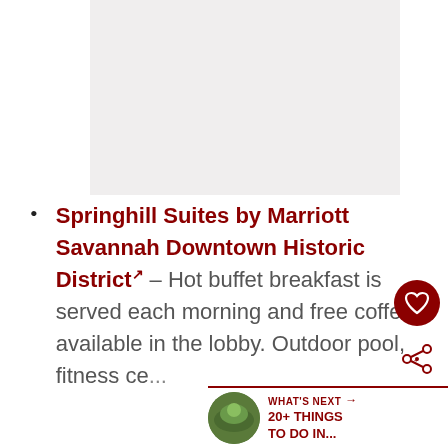[Figure (photo): Placeholder image area at top of page, light grey rectangle]
Springhill Suites by Marriott Savannah Downtown Historic District↗ – Hot buffet breakfast is served each morning and free coffee is available in the lobby. Outdoor pool, fitness ce...